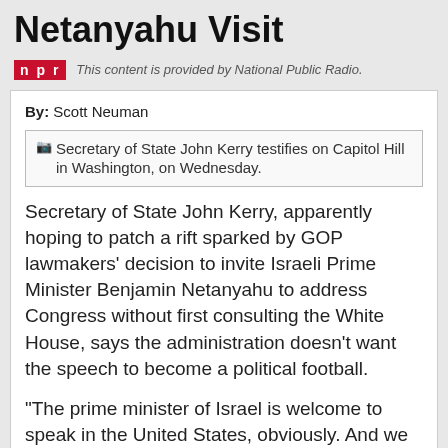Netanyahu Visit
This content is provided by National Public Radio.
By: Scott Neuman
[Figure (photo): Secretary of State John Kerry testifies on Capitol Hill in Washington, on Wednesday.]
Secretary of State John Kerry, apparently hoping to patch a rift sparked by GOP lawmakers' decision to invite Israeli Prime Minister Benjamin Netanyahu to address Congress without first consulting the White House, says the administration doesn't want the speech to become a political football.
"The prime minister of Israel is welcome to speak in the United States, obviously. And we have a